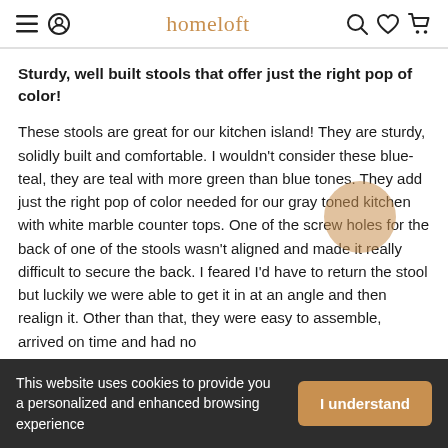homeloft
Sturdy, well built stools that offer just the right pop of color!
These stools are great for our kitchen island! They are sturdy, solidly built and comfortable. I wouldn't consider these blue-teal, they are teal with more green than blue tones. They add just the right pop of color needed for our gray toned kitchen with white marble counter tops. One of the screw holes for the back of one of the stools wasn't aligned and made it really difficult to secure the back. I feared I'd have to return the stool but luckily we were able to get it in at an angle and then realign it. Other than that, they were easy to assemble, arrived on time and had no
This website uses cookies to provide you a personalized and enhanced browsing experience